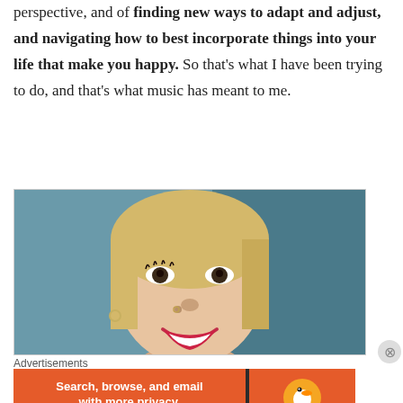perspective, and of finding new ways to adapt and adjust, and navigating how to best incorporate things into your life that make you happy. So that's what I have been trying to do, and that's what music has meant to me.
[Figure (photo): Close-up portrait of a smiling woman with blonde hair, red lipstick, and a nose ring, against a teal/dark background]
Advertisements
[Figure (screenshot): DuckDuckGo advertisement banner: orange background with text 'Search, browse, and email with more privacy. All in One Free App' and DuckDuckGo logo on dark right panel]